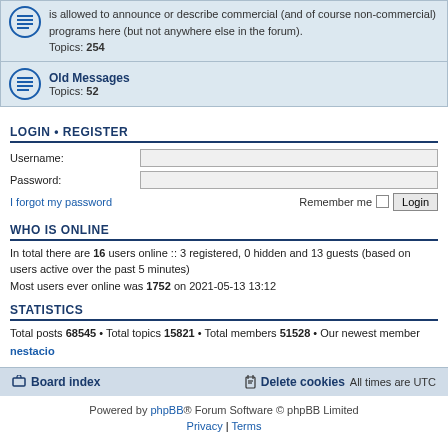is allowed to announce or describe commercial (and of course non-commercial) programs here (but not anywhere else in the forum). Topics: 254
Old Messages Topics: 52
LOGIN • REGISTER
Username:
Password:
I forgot my password    Remember me   Login
WHO IS ONLINE
In total there are 16 users online :: 3 registered, 0 hidden and 13 guests (based on users active over the past 5 minutes)
Most users ever online was 1752 on 2021-05-13 13:12
STATISTICS
Total posts 68545 • Total topics 15821 • Total members 51528 • Our newest member nestacio
Board index   Delete cookies   All times are UTC
Powered by phpBB® Forum Software © phpBB Limited
Privacy | Terms